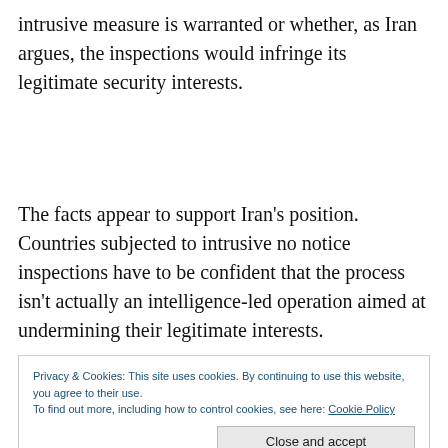intrusive measure is warranted or whether, as Iran argues, the inspections would infringe its legitimate security interests.
The facts appear to support Iran's position. Countries subjected to intrusive no notice inspections have to be confident that the process isn't actually an intelligence-led operation aimed at undermining their legitimate interests.
Privacy & Cookies: This site uses cookies. By continuing to use this website, you agree to their use.
To find out more, including how to control cookies, see here: Cookie Policy